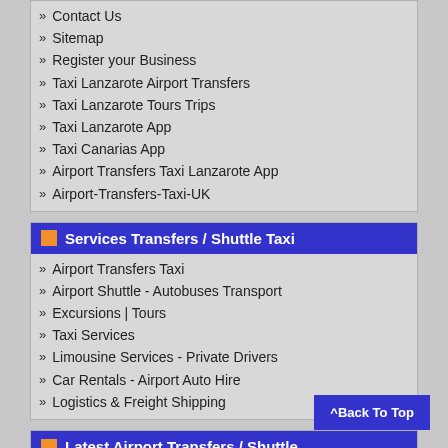Contact Us
Sitemap
Register your Business
Taxi Lanzarote Airport Transfers
Taxi Lanzarote Tours Trips
Taxi Lanzarote App
Taxi Canarias App
Airport Transfers Taxi Lanzarote App
Airport-Transfers-Taxi-UK
Services Transfers / Shuttle Taxi
Airport Transfers Taxi
Airport Shuttle - Autobuses Transport
Excursions | Tours
Taxi Services
Limousine Services - Private Drivers
Car Rentals - Airport Auto Hire
Logistics & Freight Shipping
Latest Airport Transfers / Shuttle
Car Rentals Constanta Romania - Auto Hire Rentals Constanta Romania - Airport Rentals Services
Car Rentals Timisoara Romania - Auto Hire Rentals Timisoara Romania - Airport Rentals Services
Car Rentals Stefanesti Arges Romania - Auto H... Stefanesti Arges Romania - Airport Rentals Services